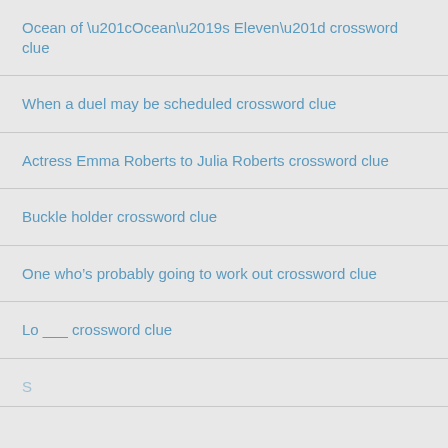Ocean of “Ocean’s Eleven” crossword clue
When a duel may be scheduled crossword clue
Actress Emma Roberts to Julia Roberts crossword clue
Buckle holder crossword clue
One who’s probably going to work out crossword clue
Lo ___ crossword clue
(partial, cut off)